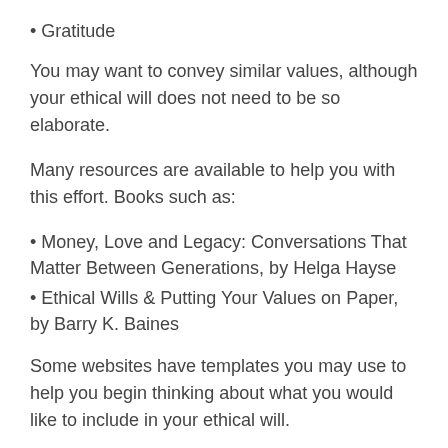• Gratitude
You may want to convey similar values, although your ethical will does not need to be so elaborate.
Many resources are available to help you with this effort. Books such as:
• Money, Love and Legacy: Conversations That Matter Between Generations, by Helga Hayse
• Ethical Wills & Putting Your Values on Paper, by Barry K. Baines
Some websites have templates you may use to help you begin thinking about what you would like to include in your ethical will.